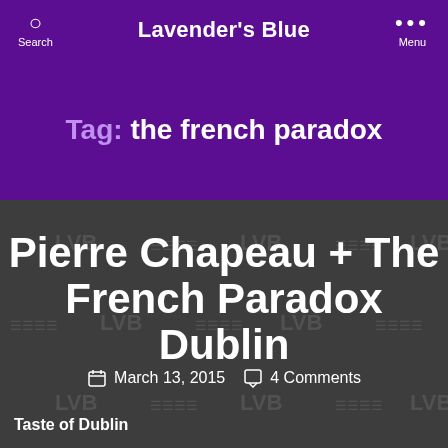Lavender's Blue
Tag: the french paradox
Pierre Chapeau + The French Paradox Dublin
March 13, 2015   4 Comments
Taste of Dublin